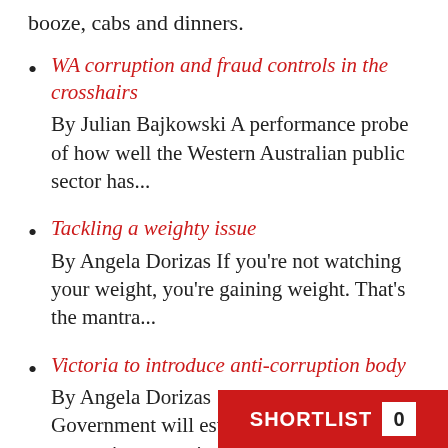booze, cabs and dinners.
WA corruption and fraud controls in the crosshairs
By Julian Bajkowski A performance probe of how well the Western Australian public sector has...
Tackling a weighty issue
By Angela Dorizas If you're not watching your weight, you're gaining weight. That's the mantra...
Victoria to introduce anti-corruption body
By Angela Dorizas  The Victorian Government will establish an anti-corruption commission and sweeping chan...